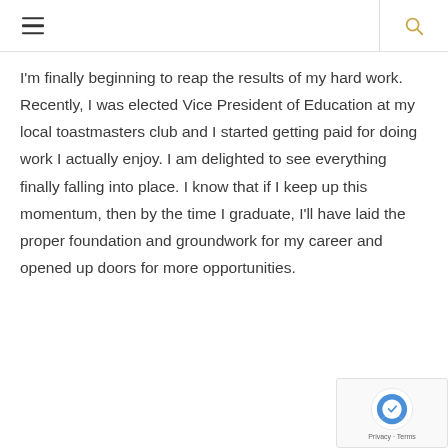I'm finally beginning to reap the results of my hard work. Recently, I was elected Vice President of Education at my local toastmasters club and I started getting paid for doing work I actually enjoy. I am delighted to see everything finally falling into place. I know that if I keep up this momentum, then by the time I graduate, I'll have laid the proper foundation and groundwork for my career and opened up doors for more opportunities.